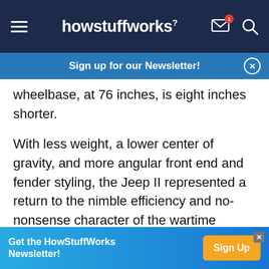howstuffworks
Sign up for our Newsletter!
wheelbase, at 76 inches, is eight inches shorter.
With less weight, a lower center of gravity, and more angular front end and fender styling, the Jeep II represented a return to the nimble efficiency and no-nonsense character of the wartime original.
Unfortunately, faltering AMC wouldn't have the wherewithal to rethink the basic Jeep CJ in earnest for another three years. While the impetus likely
Get the HowStuffWorks Newsletter! Sign Up